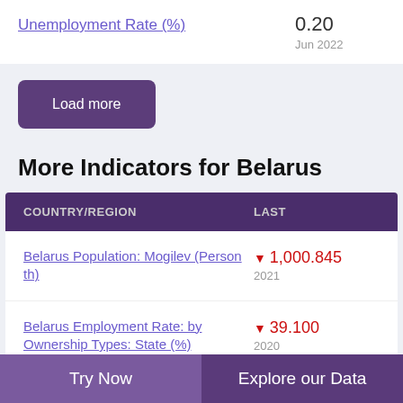Unemployment Rate (%)
0.20
Jun 2022
Load more
More Indicators for Belarus
| COUNTRY/REGION | LAST |
| --- | --- |
| Belarus Population: Mogilev (Person th) | ▼ 1,000.845
2021 |
| Belarus Employment Rate: by Ownership Types: State (%) | ▼ 39.100
2020 |
Try Now   Explore our Data